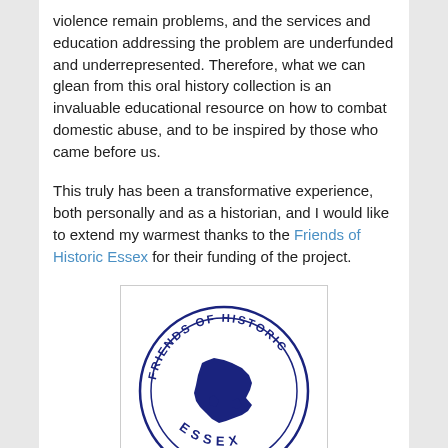violence remain problems, and the services and education addressing the problem are underfunded and underrepresented. Therefore, what we can glean from this oral history collection is an invaluable educational resource on how to combat domestic abuse, and to be inspired by those who came before us.

This truly has been a transformative experience, both personally and as a historian, and I would like to extend my warmest thanks to the Friends of Historic Essex for their funding of the project.
[Figure (logo): Circular stamp logo of Friends of Historic Essex showing a map of Essex county in dark blue, with text 'FRIENDS OF HISTORIC' around the top and 'ESSEX' at the bottom, all in dark navy blue.]
Sources: